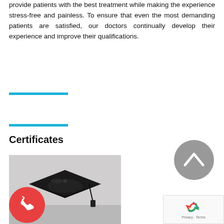provide patients with the best treatment while making the experience stress-free and painless. To ensure that even the most demanding patients are satisfied, our doctors continually develop their experience and improve their qualifications.
[Figure (illustration): Cyan/blue horizontal divider bar]
[Figure (illustration): Cyan/blue horizontal divider bar]
Certificates
[Figure (photo): Photo of a black graduation cap (mortarboard) on a light background]
[Figure (illustration): Red circular phone/call button icon]
[Figure (illustration): Gray circular scroll-up arrow button]
[Figure (logo): Google reCAPTCHA widget with Privacy and Terms links]